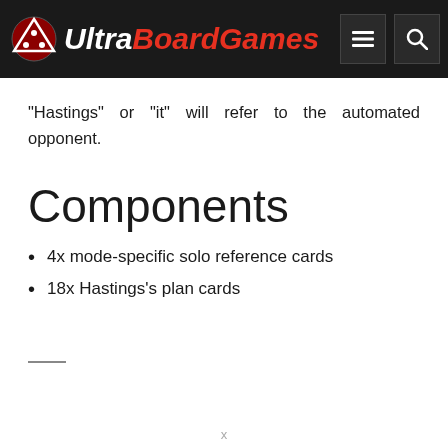UltraBoardGames
"Hastings" or "it" will refer to the automated opponent.
Components
4x mode-specific solo reference cards
18x Hastings's plan cards